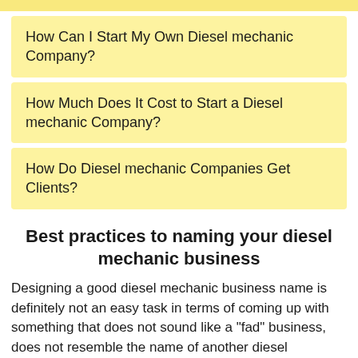How Can I Start My Own Diesel mechanic Company?
How Much Does It Cost to Start a Diesel mechanic Company?
How Do Diesel mechanic Companies Get Clients?
Best practices to naming your diesel mechanic business
Designing a good diesel mechanic business name is definitely not an easy task in terms of coming up with something that does not sound like a "fad" business, does not resemble the name of another diesel mechanic business, and makes sense to your local consumers. That is why the name must be